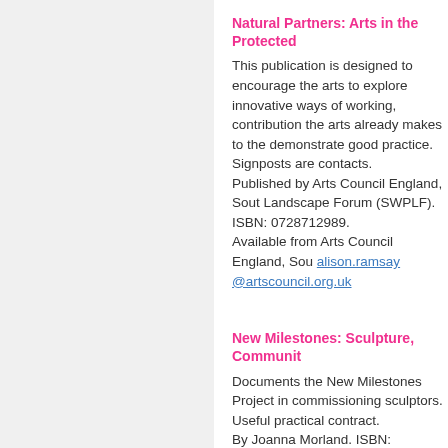Natural Partners: Arts in the Protected
This publication is designed to encourage the arts to explore innovative ways of working, contribution the arts already makes to the demonstrate good practice. Signposts are contacts.
Published by Arts Council England, South Landscape Forum (SWPLF).
ISBN: 0728712989.
Available from Arts Council England, Sou alison.ramsay @artscouncil.org.uk
New Milestones: Sculpture, Communit
Documents the New Milestones Project in commissioning sculptors. Useful practical contract.
By Joanna Morland. ISBN: 1870364031.
Published by Common Ground. Tel: 0174
www.commonground.org.uk
On the Beaten Track: Care and Maint